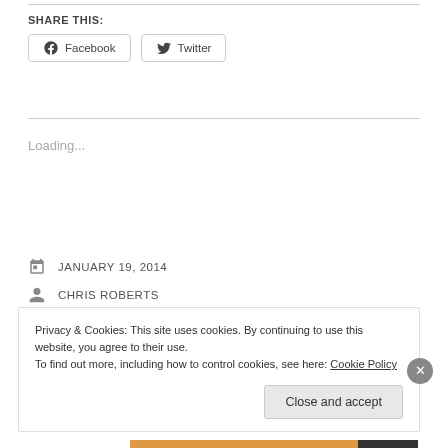SHARE THIS:
Facebook
Twitter
Loading...
JANUARY 19, 2014
CHRIS ROBERTS
LANDSCAPE, NATURE, WEATHER
Privacy & Cookies: This site uses cookies. By continuing to use this website, you agree to their use.
To find out more, including how to control cookies, see here: Cookie Policy
Close and accept